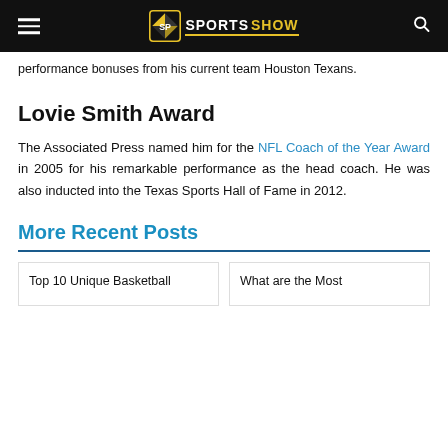Sports Show
performance bonuses from his current team Houston Texans.
Lovie Smith Award
The Associated Press named him for the NFL Coach of the Year Award in 2005 for his remarkable performance as the head coach. He was also inducted into the Texas Sports Hall of Fame in 2012.
More Recent Posts
Top 10 Unique Basketball
What are the Most